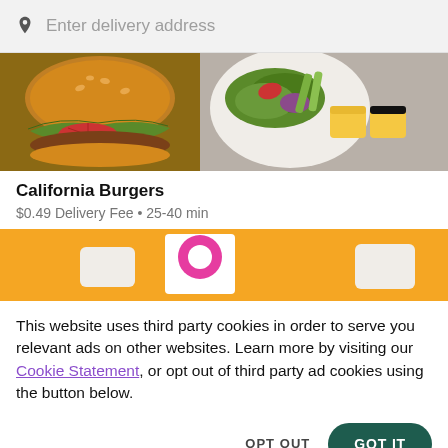Enter delivery address
[Figure (photo): Close-up food photo showing a burger with tomato and lettuce on the left, and a plate with salad and dipping sauces on the right]
California Burgers
$0.49 Delivery Fee • 25-40 min
[Figure (photo): Orange-background food photo showing packaged food items including a bag with colorful donut-like logo]
This website uses third party cookies in order to serve you relevant ads on other websites. Learn more by visiting our Cookie Statement, or opt out of third party ad cookies using the button below.
OPT OUT
GOT IT